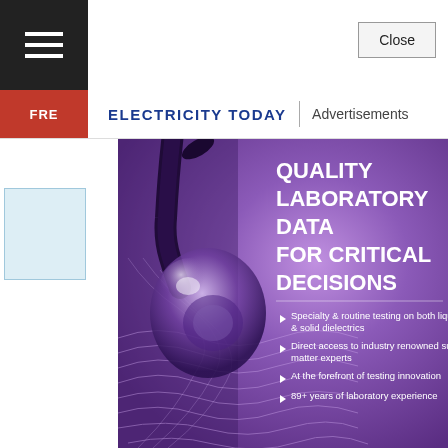ELECTRICITY TODAY | Advertisements
[Figure (illustration): Advertisement for quality laboratory data for critical decisions. Shows a liquid drop over purple/violet background with wave lines. Bullet points: Specialty & routine testing on both liquid & solid dielectrics; Direct access to industry renowned subject matter experts; At the forefront of testing innovation; 89+ years of laboratory experience.]
Conv... relia... the U... Relia... real-... more... conv... A fa... expe...